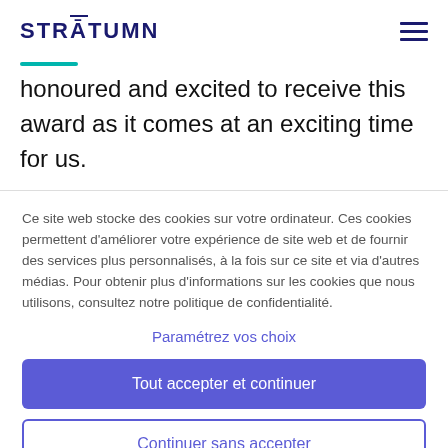STRĀTUMN
honoured and excited to receive this award as it comes at an exciting time for us.
Ce site web stocke des cookies sur votre ordinateur. Ces cookies permettent d'améliorer votre expérience de site web et de fournir des services plus personnalisés, à la fois sur ce site et via d'autres médias. Pour obtenir plus d'informations sur les cookies que nous utilisons, consultez notre politique de confidentialité.
Paramétrez vos choix
Tout accepter et continuer
Continuer sans accepter